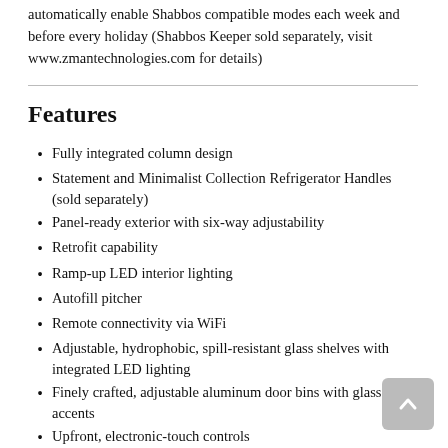automatically enable Shabbos compatible modes each week and before every holiday (Shabbos Keeper sold separately, visit www.zmantechnologies.com for details)
Features
Fully integrated column design
Statement and Minimalist Collection Refrigerator Handles (sold separately)
Panel-ready exterior with six-way adjustability
Retrofit capability
Ramp-up LED interior lighting
Autofill pitcher
Remote connectivity via WiFi
Adjustable, hydrophobic, spill-resistant glass shelves with integrated LED lighting
Finely crafted, adjustable aluminum door bins with glass accents
Upfront, electronic-touch controls
Temperature-controlled drawer
Soft-close drawers